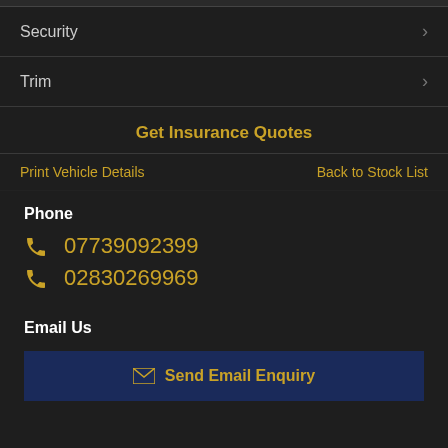Security
Trim
Get Insurance Quotes
Print Vehicle Details
Back to Stock List
Phone
07739092399
02830269969
Email Us
Send Email Enquiry